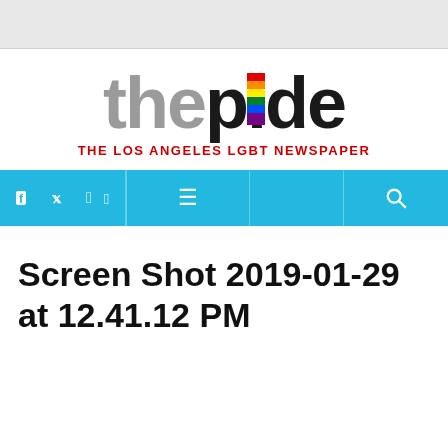[Figure (logo): The Pride newspaper logo — 'the' in gray, 'pride' in black with rainbow-colored 'i', and tagline 'THE LOS ANGELES LGBT NEWSPAPER' in red]
[Figure (screenshot): Cyan navigation bar with Facebook icon, Twitter icon, hamburger menu icon, and search icon]
Screen Shot 2019-01-29 at 12.41.12 PM